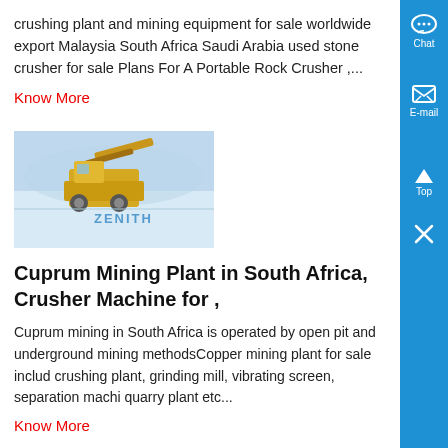crushing plant and mining equipment for sale worldwide export Malaysia South Africa Saudi Arabia used stone crusher for sale Plans For A Portable Rock Crusher ,...
Know More
[Figure (photo): Mining equipment / crushing plant photo with ZENITH watermark overlay, showing yellow machinery on a snowy or light-colored terrain.]
Cuprum Mining Plant in South Africa, Crusher Machine for ,
Cuprum mining in South Africa is operated by open pit and underground mining methodsCopper mining plant for sale includ crushing plant, grinding mill, vibrating screen, separation machi quarry plant etc...
Know More